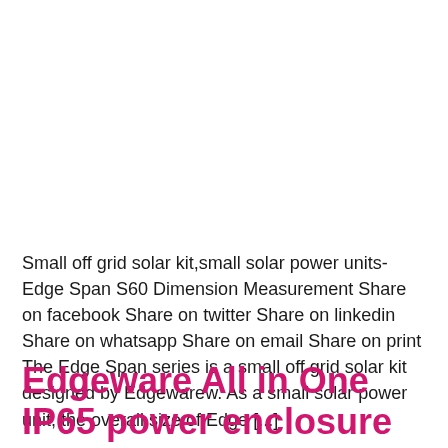Small off grid solar kit,small solar power units-Edge Span S60 Dimension Measurement Share on facebook Share on twitter Share on linkedin Share on whatsapp Share on email Share on print The Edge Span series is a small off grid solar kit designed by Edgewarew. As a small solar power unit, the overall size of Edge [...]
Edgeware All in One IP65 power enclosure box and Modular Outdoor Power